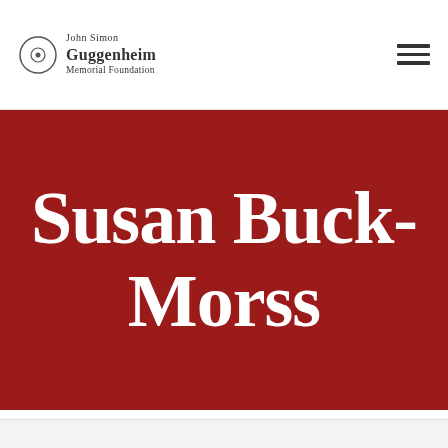John Simon Guggenheim Memorial Foundation
Susan Buck-Morss
Fellows